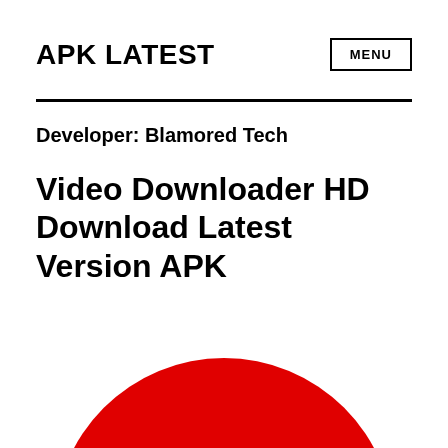APK LATEST
MENU
Developer: Blamored Tech
Video Downloader HD Download Latest Version APK
[Figure (illustration): Red circle/arc shape at the bottom of the page, partially visible, suggesting an app icon or graphic element.]